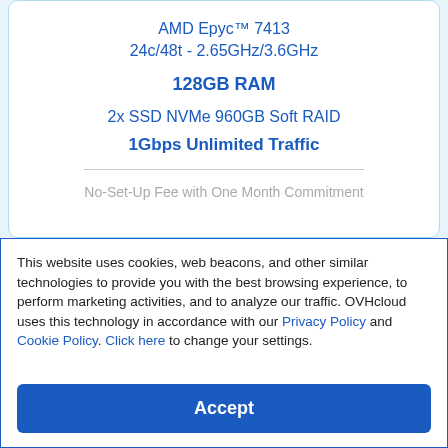AMD Epyc™ 7413
24c/48t - 2.65GHz/3.6GHz
128GB RAM
2x SSD NVMe 960GB Soft RAID
1Gbps Unlimited Traffic
No-Set-Up Fee with One Month Commitment
This website uses cookies, web beacons, and other similar technologies to provide you with the best browsing experience, to perform marketing activities, and to analyze our traffic. OVHcloud uses this technology in accordance with our Privacy Policy and Cookie Policy. Click here to change your settings.
Accept